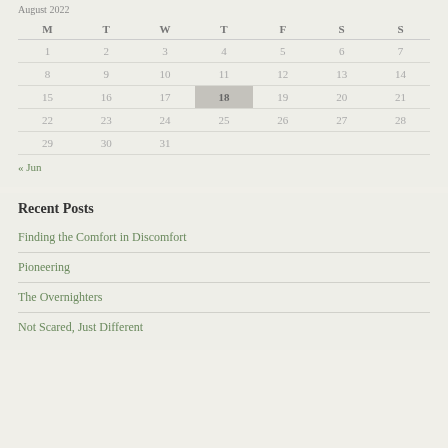| M | T | W | T | F | S | S |
| --- | --- | --- | --- | --- | --- | --- |
| 1 | 2 | 3 | 4 | 5 | 6 | 7 |
| 8 | 9 | 10 | 11 | 12 | 13 | 14 |
| 15 | 16 | 17 | 18 | 19 | 20 | 21 |
| 22 | 23 | 24 | 25 | 26 | 27 | 28 |
| 29 | 30 | 31 |  |  |  |  |
« Jun
Recent Posts
Finding the Comfort in Discomfort
Pioneering
The Overnighters
Not Scared, Just Different